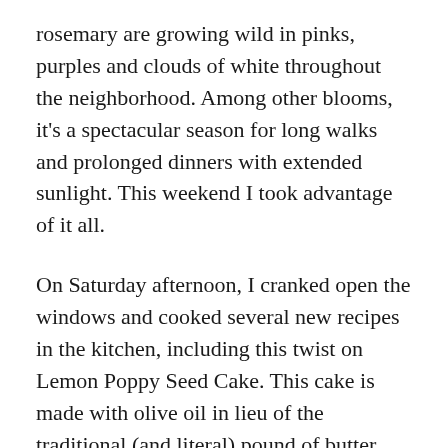rosemary are growing wild in pinks, purples and clouds of white throughout the neighborhood. Among other blooms, it's a spectacular season for long walks and prolonged dinners with extended sunlight. This weekend I took advantage of it all.
On Saturday afternoon, I cranked open the windows and cooked several new recipes in the kitchen, including this twist on Lemon Poppy Seed Cake. This cake is made with olive oil in lieu of the traditional (and literal) pound of butter which makes it lighter and airier. Perfect for springtime dessert and lingering Sunday